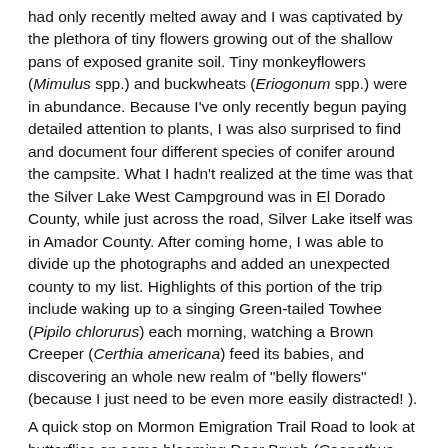had only recently melted away and I was captivated by the plethora of tiny flowers growing out of the shallow pans of exposed granite soil. Tiny monkeyflowers (Mimulus spp.) and buckwheats (Eriogonum spp.) were in abundance. Because I've only recently begun paying detailed attention to plants, I was also surprised to find and document four different species of conifer around the campsite. What I hadn't realized at the time was that the Silver Lake West Campground was in El Dorado County, while just across the road, Silver Lake itself was in Amador County. After coming home, I was able to divide up the photographs and added an unexpected county to my list. Highlights of this portion of the trip include waking up to a singing Green-tailed Towhee (Pipilo chlorurus) each morning, watching a Brown Creeper (Certhia americana) feed its babies, and discovering an whole new realm of "belly flowers" (because I just need to be even more easily distracted! ).
A quick stop on Mormon Emigration Trail Road to look at butterflies on some blooming Deer Brush (Ceanothus integerrimus) also led to the discovery of a Sierra Clarkia (Clarkia virgata) and a first inaturalist record!
Sierra County (14 SL observations)
A line of text starting here about Sierra County...